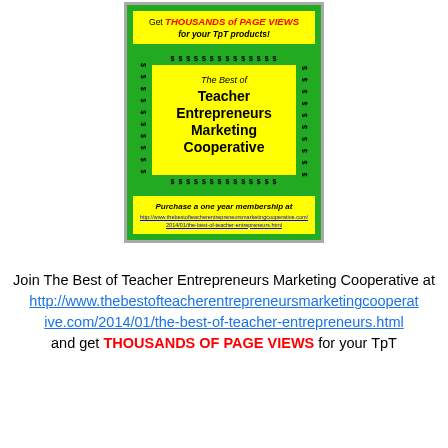[Figure (illustration): Promotional ad card on green background. Top yellow banner: 'Get THOUSANDS of PAGE VIEWS for your TpT products!'. Middle section with dollar signs border and yellow center box: 'The Best of Teacher Entrepreneurs Marketing Cooperative'. Bottom yellow banner: 'Purchase a one year membership at http://www.thebestofteacherentrepreneursmarketingcooperative.com/2014/01/the-best-of-teacher-entrepreneurs.html']
Join The Best of Teacher Entrepreneurs Marketing Cooperative at http://www.thebestofteacherentrepreneursmarketingcooperative.com/2014/01/the-best-of-teacher-entrepreneurs.html and get THOUSANDS OF PAGE VIEWS for your TpT